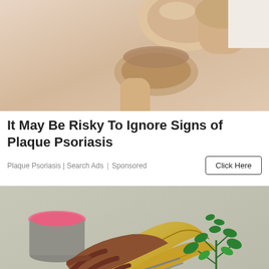[Figure (illustration): Medical illustration showing a joint/knee anatomy with bone and cartilage in peach/tan tones against a light background]
It May Be Risky To Ignore Signs of Plaque Psoriasis
Plaque Psoriasis | Search Ads | Sponsored
[Figure (photo): Photo of hands cutting a banana peel with red scissors, with a small plant in a green pot and a pink-lidded container in the background on a grey surface]